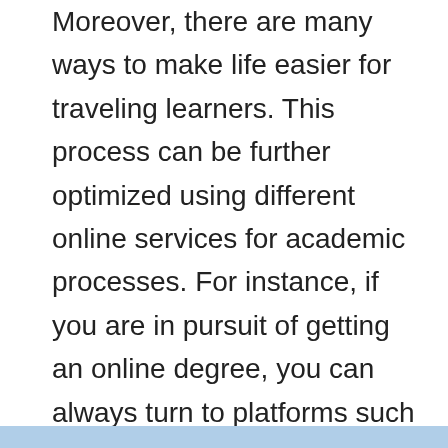Moreover, there are many ways to make life easier for traveling learners. This process can be further optimized using different online services for academic processes. For instance, if you are in pursuit of getting an online degree, you can always turn to platforms such as EssayPro when in need of texts intended for universities and colleges.
In this article, you will find some pieces of advice on how to get online education and the picks of the best options out there.